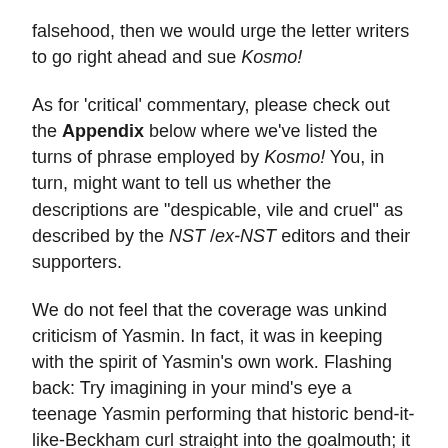falsehood, then we would urge the letter writers to go right ahead and sue Kosmo!
As for 'critical' commentary, please check out the Appendix below where we've listed the turns of phrase employed by Kosmo! You, in turn, might want to tell us whether the descriptions are "despicable, vile and cruel" as described by the NST /ex-NST editors and their supporters.
We do not feel that the coverage was unkind criticism of Yasmin. In fact, it was in keeping with the spirit of Yasmin's own work. Flashing back: Try imagining in your mind's eye a teenage Yasmin performing that historic bend-it-like-Beckham curl straight into the goalmouth; it brings on a bemused, feel-good smile.